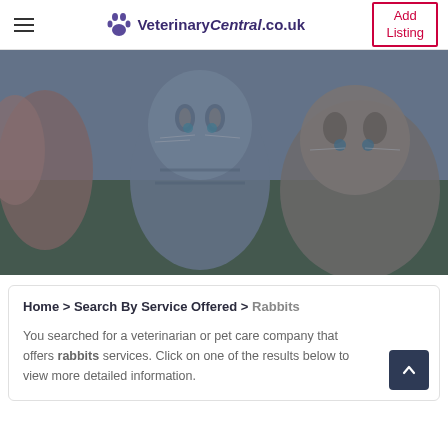VeterinaryCentral.co.uk — Add Listing
[Figure (photo): Three tabby kittens sitting in green grass, with a blue-gray color overlay tint on the image]
Home > Search By Service Offered > Rabbits
You searched for a veterinarian or pet care company that offers rabbits services. Click on one of the results below to view more detailed information.